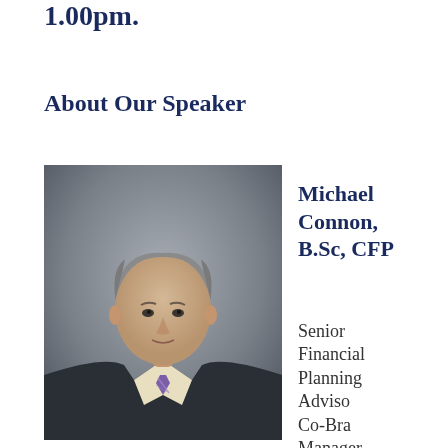1.00pm.
About Our Speaker
[Figure (photo): Professional headshot of Michael Connon, a middle-aged man with grey hair wearing a dark suit, light shirt and purple striped tie, photographed against a grey background.]
Michael Connon, B.Sc, CFP
Senior Financial Planning Advisor Co-Branch Manager